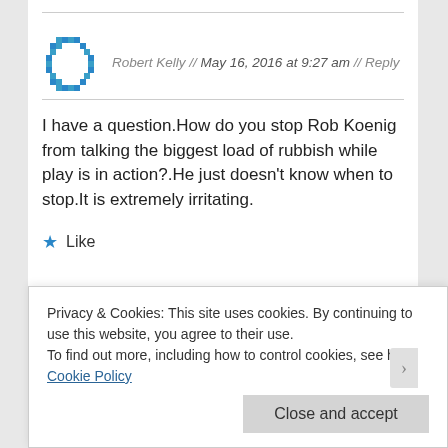Robert Kelly // May 16, 2016 at 9:27 am // Reply
I have a question.How do you stop Rob Koenig from talking the biggest load of rubbish while play is in action?.He just doesn't know when to stop.It is extremely irritating.
Like
Privacy & Cookies: This site uses cookies. By continuing to use this website, you agree to their use.
To find out more, including how to control cookies, see here: Cookie Policy
Close and accept